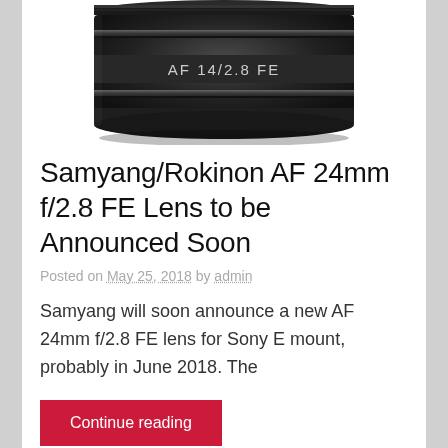[Figure (photo): Close-up of a black camera lens cap/body marked 'AF 14/2.8 FE' in silver text, partially visible from the top of the frame.]
Samyang/Rokinon AF 24mm f/2.8 FE Lens to be Announced Soon
Posted on May 25, 2018 by admin
Samyang will soon announce a new AF 24mm f/2.8 FE lens for Sony E mount, probably in June 2018. The
Continue reading
Lenses, Samyang / Rokinon
Leave a comment